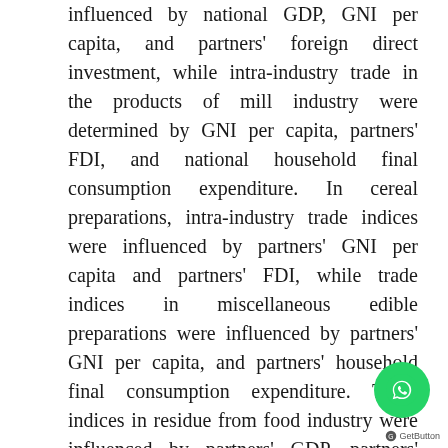influenced by national GDP, GNI per capita, and partners' foreign direct investment, while intra-industry trade in the products of mill industry were determined by GNI per capita, partners' FDI, and national household final consumption expenditure. In cereal preparations, intra-industry trade indices were influenced by partners' GNI per capita and partners' FDI, while trade indices in miscellaneous edible preparations were influenced by partners' GNI per capita, and partners' household final consumption expenditure. Trade indices in residue from food industry were influenced by partners' GDP, partners' population, national value added by manufacturing, national population, partners' value added by manufacturing, and national agricultural value added.